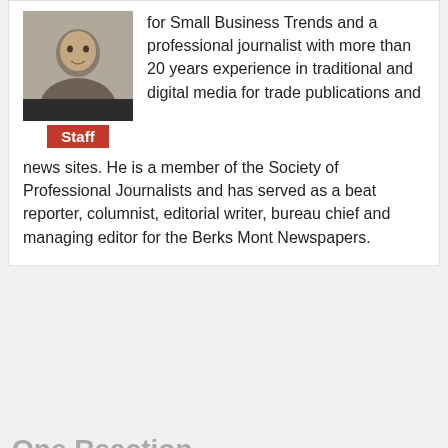[Figure (photo): Author headshot photo of a man, with a red 'Staff' badge below the photo]
for Small Business Trends and a professional journalist with more than 20 years experience in traditional and digital media for trade publications and news sites. He is a member of the Society of Professional Journalists and has served as a beat reporter, columnist, editorial writer, bureau chief and managing editor for the Berks Mont Newspapers.
One Reaction